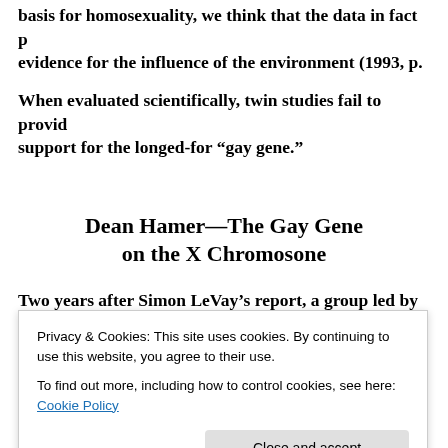basis for homosexuality, we think that the data in fact provide evidence for the influence of the environment (1993, p.
When evaluated scientifically, twin studies fail to provide support for the longed-for “gay gene.”
Dean Hamer—The Gay Gene on the X Chromosone
Two years after Simon LeVay’s report, a group led by D
Privacy & Cookies: This site uses cookies. By continuing to use this website, you agree to their use.
To find out more, including how to control cookies, see here: Cookie Policy
they searched for incidences of homosexuality among